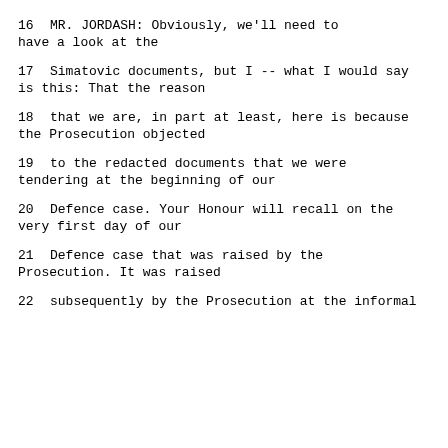16        MR. JORDASH:  Obviously, we'll need to have a look at the
17     Simatovic documents, but I -- what I would say is this:  That the reason
18     that we are, in part at least, here is because the Prosecution objected
19     to the redacted documents that we were tendering at the beginning of our
20     Defence case.  Your Honour will recall on the very first day of our
21     Defence case that was raised by the Prosecution.  It was raised
22     subsequently by the Prosecution at the informal